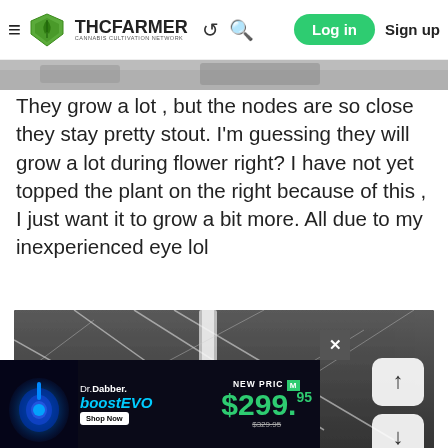THCFarmer — Cannabis Cultivation Network — Log in — Sign up
[Figure (photo): Partial photo strip visible at top of page, gray/silver metallic tones]
They grow a lot , but the nodes are so close they stay pretty stout. I'm guessing they will grow a lot during flower right? I have not yet topped the plant on the right because of this , I just want it to grow a bit more. All due to my inexperienced eye lol
[Figure (photo): Black and white / desaturated photo of cannabis plant with trellis netting in background, green cannabis leaves visible at bottom]
[Figure (other): Advertisement banner for Dr.Dabber boost EVO — NEW PRICE $299.95, was $329.95, Shop Now button]